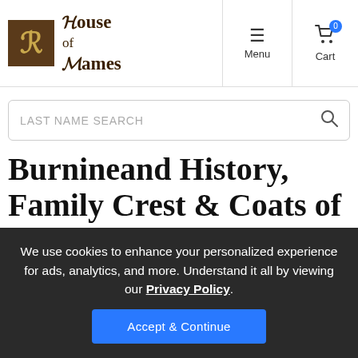House of Names — Menu | Cart
LAST NAME SEARCH
Burnineand History, Family Crest & Coats of Arms
We use cookies to enhance your personalized experience for ads, analytics, and more. Understand it all by viewing our Privacy Policy. Accept & Continue